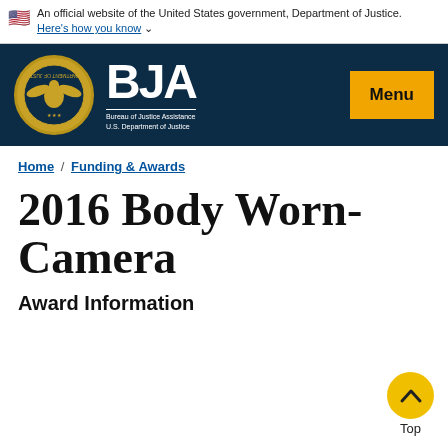An official website of the United States government, Department of Justice. Here's how you know
[Figure (logo): BJA Bureau of Justice Assistance U.S. Department of Justice logo with Department of Justice seal and Menu button]
Home / Funding & Awards
2016 Body Worn-Camera
Award Information